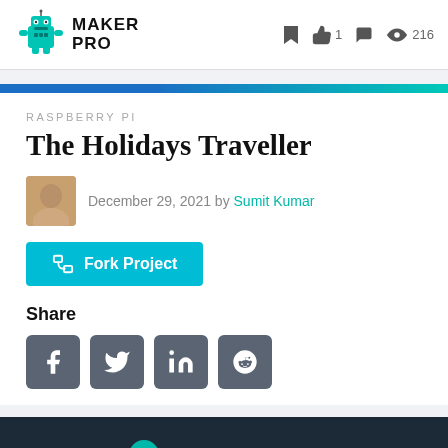MAKER PRO — bookmark, 1 like, comments, 216 views
RASPBERRY PI
The Holidays Traveller
December 29, 2021 by Sumit Kumar
Fork Project
Share
[Figure (illustration): Social share icons: Facebook, Twitter, LinkedIn, Reddit]
[Figure (photo): Dark background promotional image at bottom of page]